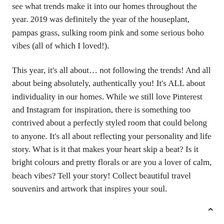see what trends make it into our homes throughout the year. 2019 was definitely the year of the houseplant, pampas grass, sulking room pink and some serious boho vibes (all of which I loved!).
This year, it's all about… not following the trends! And all about being absolutely, authentically you! It's ALL about individuality in our homes. While we still love Pinterest and Instagram for inspiration, there is something too contrived about a perfectly styled room that could belong to anyone. It's all about reflecting your personality and life story. What is it that makes your heart skip a beat? Is it bright colours and pretty florals or are you a lover of calm, beach vibes? Tell your story! Collect beautiful travel souvenirs and artwork that inspires your soul.